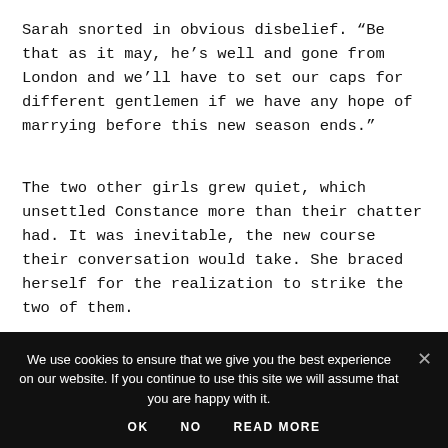Sarah snorted in obvious disbelief. “Be that as it may, he’s well and gone from London and we’ll have to set our caps for different gentlemen if we have any hope of marrying before this new season ends.”
The two other girls grew quiet, which unsettled Constance more than their chatter had. It was inevitable, the new course their conversation would take. She braced herself for the realization to strike the two of them.
We use cookies to ensure that we give you the best experience on our website. If you continue to use this site we will assume that you are happy with it.
OK  NO  READ MORE